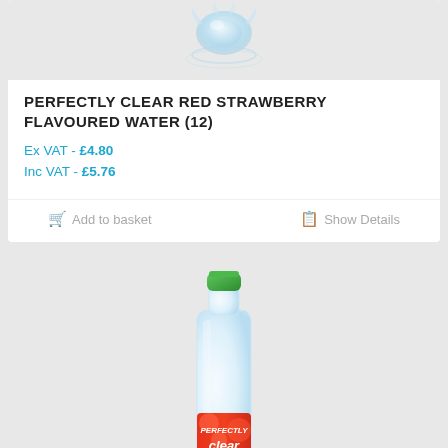[Figure (photo): Water splash/droplet image on grey background - top portion of product card]
PERFECTLY CLEAR RED STRAWBERRY FLAVOURED WATER (12)
Ex VAT - £4.80
Inc VAT - £5.76
Add to basket
Show Details
[Figure (photo): Perfectly Clear flavoured water bottle with green cap and red strawberry label, on grey background]